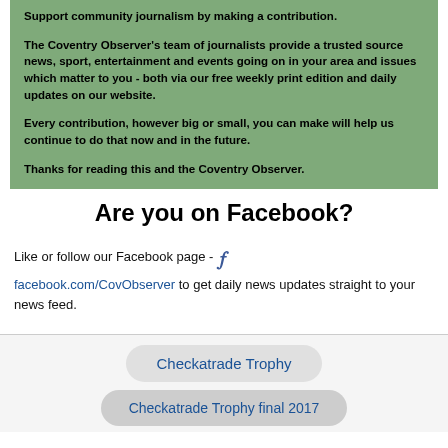Support community journalism by making a contribution.
The Coventry Observer's team of journalists provide a trusted source news, sport, entertainment and events going on in your area and issues which matter to you - both via our free weekly print edition and daily updates on our website.
Every contribution, however big or small, you can make will help us continue to do that now and in the future.
Thanks for reading this and the Coventry Observer.
Are you on Facebook?
Like or follow our Facebook page - facebook.com/CovObserver to get daily news updates straight to your news feed.
Checkatrade Trophy
Checkatrade Trophy final 2017